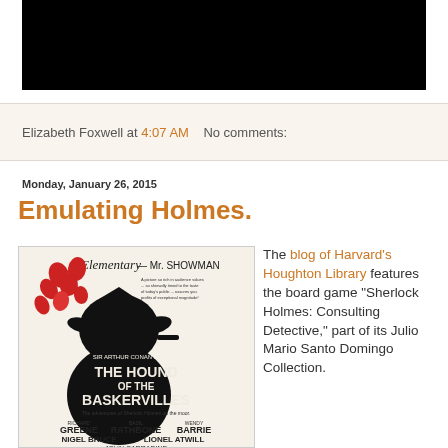[Figure (photo): Black banner image at top of blog page]
Elizabeth Foxwell at 4:07 AM   No comments:
Monday, January 26, 2015
Emulating Holmes.
[Figure (photo): Movie poster for 'The Hound of the Baskervilles' featuring Sherlock Holmes silhouette, with text 'Elementary - Mr. SHOWMAN', 'SIR ARTHUR CONAN DOYLE'S THE HOUND OF THE BASKERVILLES', starring Richard Greene, Basil Rathbone, Wendy Barrie, Nigel Bruce, Lionel Atwill, John Carradine]
The blog of Harvard's Houghton Library features the board game "Sherlock Holmes: Consulting Detective," part of its Julio Mario Santo Domingo Collection.